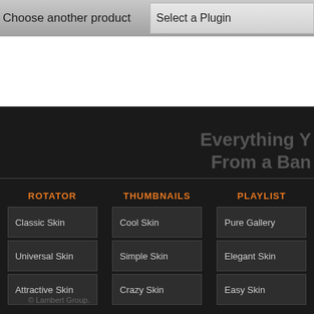Choose another product   Select a Plugin
Everything Y
From a Ban
ROTATOR
THUMBNAILS
PLAYLIST
Classic Skin
Universal Skin
Attractive Skin
Cool Skin
Simple Skin
Crazy Skin
Pure Gallery
Elegant Skin
Easy Skin
© Lambert Group.